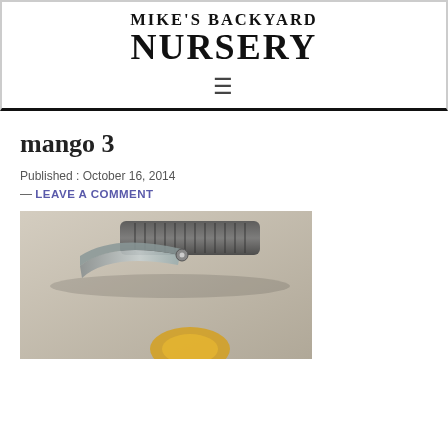MIKE'S BACKYARD NURSERY
mango 3
Published : October 16, 2014
— LEAVE A COMMENT
[Figure (photo): A photo of pruning shears/scissors placed on a surface, partially visible at the bottom of the page]